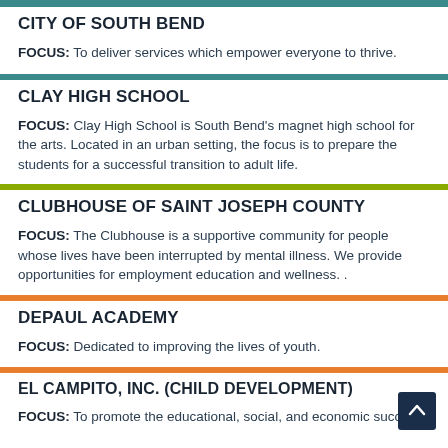CITY OF SOUTH BEND
FOCUS: To deliver services which empower everyone to thrive.
CLAY HIGH SCHOOL
FOCUS: Clay High School is South Bend's magnet high school for the arts. Located in an urban setting, the focus is to prepare the students for a successful transition to adult life.
CLUBHOUSE OF SAINT JOSEPH COUNTY
FOCUS: The Clubhouse is a supportive community for people whose lives have been interrupted by mental illness. We provide opportunities for employment education and wellness. .
DEPAUL ACADEMY
FOCUS: Dedicated to improving the lives of youth.
EL CAMPITO, INC. (CHILD DEVELOPMENT)
FOCUS: To promote the educational, social, and economic success